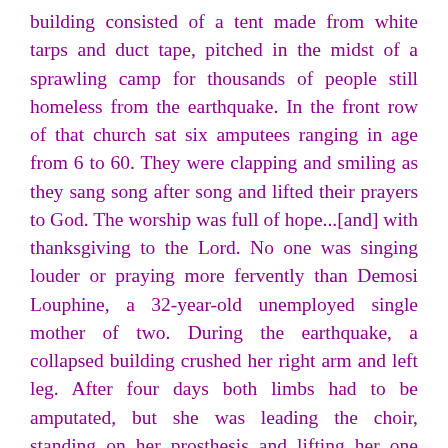building consisted of a tent made from white tarps and duct tape, pitched in the midst of a sprawling camp for thousands of people still homeless from the earthquake. In the front row of that church sat six amputees ranging in age from 6 to 60. They were clapping and smiling as they sang song after song and lifted their prayers to God. The worship was full of hope...[and] with thanksgiving to the Lord. No one was singing louder or praying more fervently than Demosi Louphine, a 32-year-old unemployed single mother of two. During the earthquake, a collapsed building crushed her right arm and left leg. After four days both limbs had to be amputated, but she was leading the choir, standing on her prosthesis and lifting her one hand high in praise to God... Following the service, Stearns met Demosi and her two daughters, ages eight and ten, who were living in a tent just five feet tall and perhaps eight feet wide. She had lost her job, her home, and